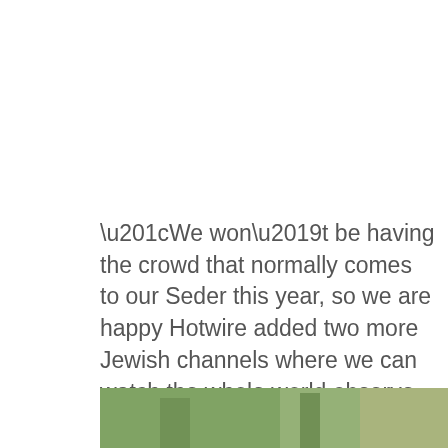“We won’t be having the crowd that normally comes to our Seder this year, so we are happy Hotwire added two more Jewish channels where we can watch the whole world observe Passover,” said Esther Blitz.
[Figure (photo): A partial photograph visible at the bottom of the page showing an outdoor scene with green foliage and what appears to be a bird or animal.]